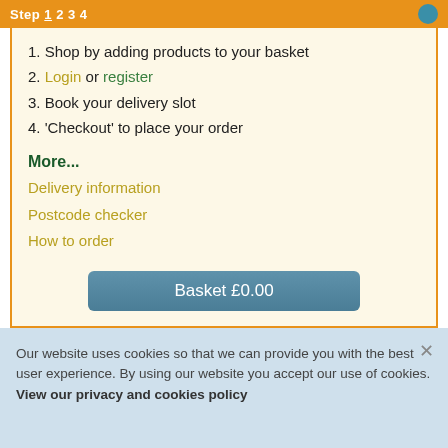Step 1 2 3 4
1. Shop by adding products to your basket
2. Login or register
3. Book your delivery slot
4. 'Checkout' to place your order
More...
Delivery information
Postcode checker
How to order
Basket  £0.00
Our website uses cookies so that we can provide you with the best user experience. By using our website you accept our use of cookies. View our privacy and cookies policy